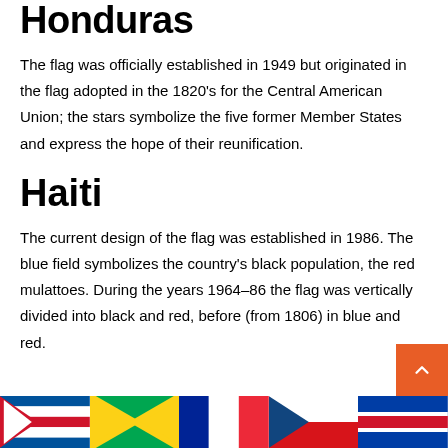Honduras
The flag was officially established in 1949 but originated in the flag adopted in the 1820's for the Central American Union; the stars symbolize the five former Member States and express the hope of their reunification.
Haiti
The current design of the flag was established in 1986. The blue field symbolizes the country's black population, the red mulattoes. During the years 1964–86 the flag was vertically divided into black and red, before (from 1806) in blue and red.
[Figure (illustration): Row of five country flags partially visible at the bottom of the page]